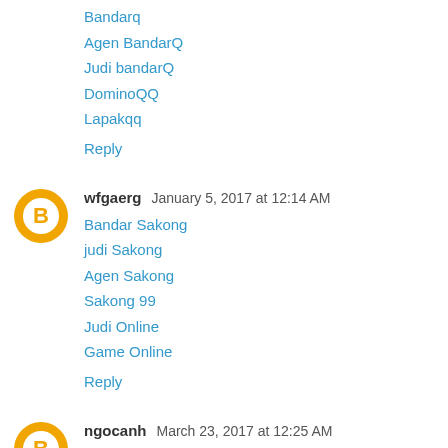Bandarq
Agen BandarQ
Judi bandarQ
DominoQQ
Lapakqq
Reply
wfgaerg  January 5, 2017 at 12:14 AM
Bandar Sakong
judi Sakong
Agen Sakong
Sakong 99
Judi Online
Game Online
Reply
ngocanh  March 23, 2017 at 12:25 AM
I like your all post. You have done really good work. Thank you for the information you provide, it helped me a lot.